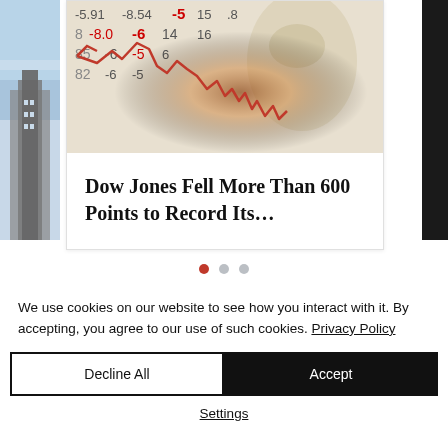[Figure (photo): Left partial card showing a building/architecture photo with blue sky]
[Figure (photo): Center card showing a financial stock chart image with red line graph and currency/numbers background, with burning effect]
Dow Jones Fell More Than 600 Points to Record Its…
[Figure (photo): Right partial card with dark/black background]
We use cookies on our website to see how you interact with it. By accepting, you agree to our use of such cookies. Privacy Policy
Decline All
Accept
Settings